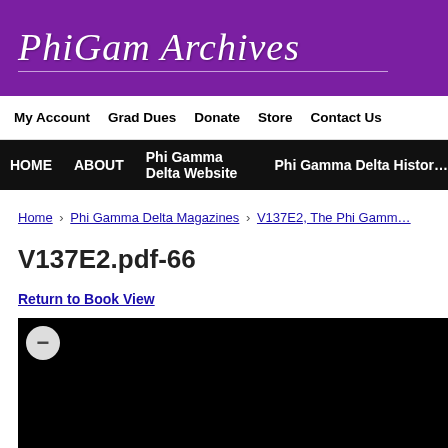PhiGam Archives
My Account | Grad Dues | Donate | Store | Contact Us
HOME | ABOUT | Phi Gamma Delta Website | Phi Gamma Delta Histor…
Home › Phi Gamma Delta Magazines › V137E2, The Phi Gamm…
V137E2.pdf-66
Return to Book View
[Figure (screenshot): Black viewer area with a circular minus/zoom-out button in the upper left corner]